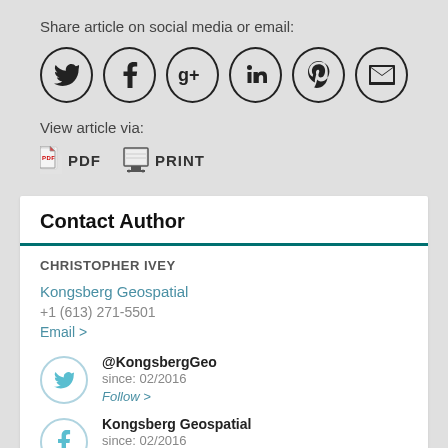Share article on social media or email:
[Figure (infographic): Six circular social media share icons: Twitter, Facebook, Google+, LinkedIn, Pinterest, Email]
View article via:
[Figure (infographic): PDF icon with label PDF and Print icon with label PRINT]
Contact Author
CHRISTOPHER IVEY
Kongsberg Geospatial
+1 (613) 271-5501
Email >
@KongsbergGeo
since: 02/2016
Follow >
Kongsberg Geospatial
since: 02/2016